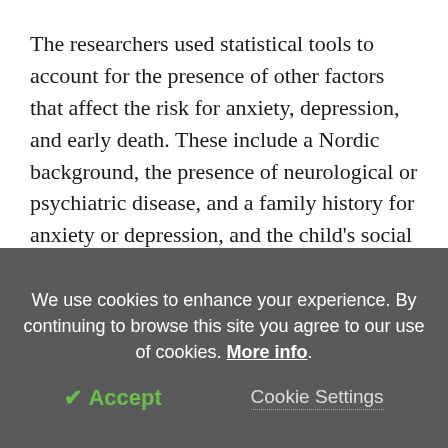The researchers used statistical tools to account for the presence of other factors that affect the risk for anxiety, depression, and early death. These include a Nordic background, the presence of neurological or psychiatric disease, and a family history for anxiety or depression, and the child's social and economic background. After adjusting for all these factors, the same linkages were seen between obesity and negative emotional states.
Implications
We use cookies to enhance your experience. By continuing to browse this site you agree to our use of cookies. More info.